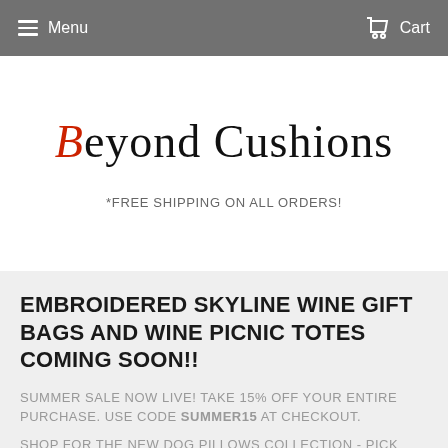Menu  Cart
Beyond Cushions
*FREE SHIPPING ON ALL ORDERS!
EMBROIDERED SKYLINE WINE GIFT BAGS AND WINE PICNIC TOTES COMING SOON!!
SUMMER SALE NOW LIVE! TAKE 15% OFF YOUR ENTIRE PURCHASE. USE CODE SUMMER15 AT CHECKOUT.
SHOP FOR THE NEW DOG PILLOWS COLLECTION - PICK